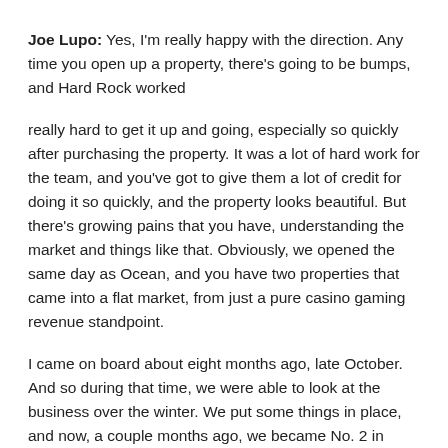Joe Lupo: Yes, I'm really happy with the direction. Any time you open up a property, there's going to be bumps, and Hard Rock worked
really hard to get it up and going, especially so quickly after purchasing the property. It was a lot of hard work for the team, and you've got to give them a lot of credit for doing it so quickly, and the property looks beautiful. But there's growing pains that you have, understanding the market and things like that. Obviously, we opened the same day as Ocean, and you have two properties that came into a flat market, from just a pure casino gaming revenue standpoint.
I came on board about eight months ago, late October. And so during that time, we were able to look at the business over the winter. We put some things in place, and now, a couple months ago, we became No. 2 in casino revenue. And to do that before our year anniversary is a great milestone.